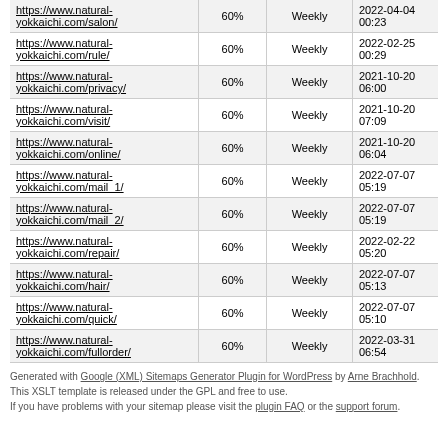| https://www.natural-yokkaichi.com/salon/ | 60% | Weekly | 2022-04-04 00:23 |
| https://www.natural-yokkaichi.com/rule/ | 60% | Weekly | 2022-02-25 00:29 |
| https://www.natural-yokkaichi.com/privacy/ | 60% | Weekly | 2021-10-20 06:00 |
| https://www.natural-yokkaichi.com/visit/ | 60% | Weekly | 2021-10-20 07:09 |
| https://www.natural-yokkaichi.com/online/ | 60% | Weekly | 2021-10-20 06:04 |
| https://www.natural-yokkaichi.com/mail_1/ | 60% | Weekly | 2022-07-07 05:19 |
| https://www.natural-yokkaichi.com/mail_2/ | 60% | Weekly | 2022-07-07 05:19 |
| https://www.natural-yokkaichi.com/repair/ | 60% | Weekly | 2022-02-22 05:20 |
| https://www.natural-yokkaichi.com/hair/ | 60% | Weekly | 2022-07-07 05:13 |
| https://www.natural-yokkaichi.com/quick/ | 60% | Weekly | 2022-07-07 05:10 |
| https://www.natural-yokkaichi.com/fullorder/ | 60% | Weekly | 2022-03-31 06:54 |
Generated with Google (XML) Sitemaps Generator Plugin for WordPress by Arne Brachhold. This XSLT template is released under the GPL and free to use. If you have problems with your sitemap please visit the plugin FAQ or the support forum.